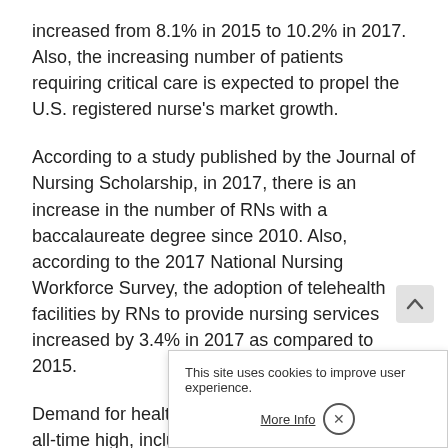increased from 8.1% in 2015 to 10.2% in 2017. Also, the increasing number of patients requiring critical care is expected to propel the U.S. registered nurse's market growth.
According to a study published by the Journal of Nursing Scholarship, in 2017, there is an increase in the number of RNs with a baccalaureate degree since 2010. Also, according to the 2017 National Nursing Workforce Survey, the adoption of telehealth facilities by RNs to provide nursing services increased by 3.4% in 2017 as compared to 2015.
Demand for healthcare professionals is at an all-time high, including the nursing profession owing to the COVID-19 pandemic. Before COVID-19, the healthcare industry was already facing the shortage of nurses, and to treat coronavirus outbreak, demand has increased rapidly. As per in March 2020, per diem nurses are hired at San